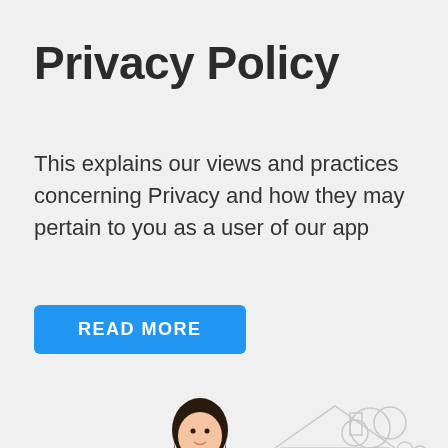Privacy Policy
This explains our views and practices concerning Privacy and how they may pertain to you as a user of our app
READ MORE
[Figure (illustration): Illustration of a woman in an orange top and blue pants standing next to a document/phone, with a house and trees in the background. A hand holds a pen pointing at the document.]